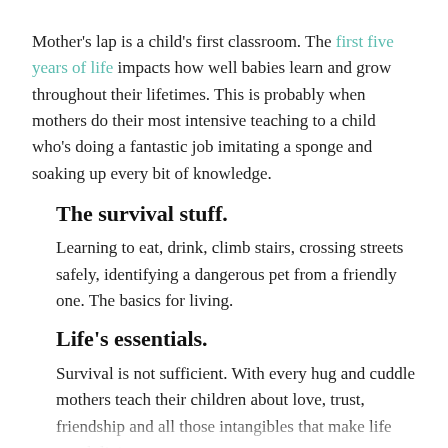Mother's lap is a child's first classroom. The first five years of life impacts how well babies learn and grow throughout their lifetimes. This is probably when mothers do their most intensive teaching to a child who's doing a fantastic job imitating a sponge and soaking up every bit of knowledge.
The survival stuff.
Learning to eat, drink, climb stairs, crossing streets safely, identifying a dangerous pet from a friendly one. The basics for living.
Life's essentials.
Survival is not sufficient. With every hug and cuddle mothers teach their children about love, trust, friendship and all those intangibles that make life worth living.